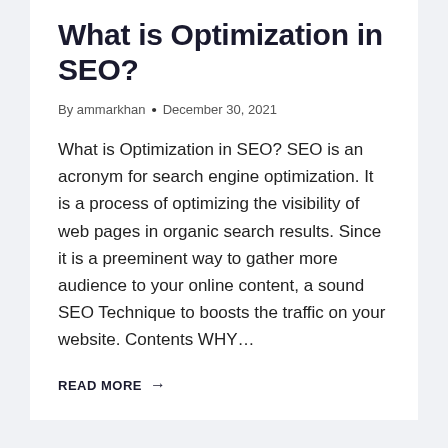What is Optimization in SEO?
By ammarkhan • December 30, 2021
What is Optimization in SEO? SEO is an acronym for search engine optimization. It is a process of optimizing the visibility of web pages in organic search results. Since it is a preeminent way to gather more audience to your online content, a sound SEO Technique to boosts the traffic on your website. Contents WHY…
READ MORE →